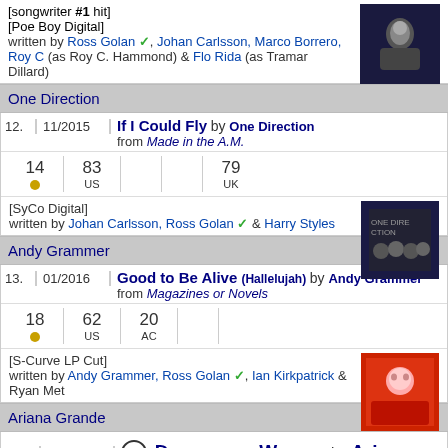[songwriter #1 hit]
[Poe Boy Digital]
written by Ross Golan ✓, Johan Carlsson, Marco Borrero, Roy C (as Roy C. Hammond) & Flo Rida (as Tramar Dillard)
One Direction
12. 11/2015 If I Could Fly by One Direction from Made in the A.M.
14 [bullet] | 83 US | | 79 UK
[SyCo Digital]
written by Johan Carlsson, Ross Golan ✓ & Harry Styles
Andy Grammer
13. 01/2016 Good to Be Alive (Hallelujah) by Andy Grammer from Magazines or Novels
18 [bullet] | 62 US | 20 AC
[S-Curve LP Cut]
written by Andy Grammer, Ross Golan ✓, Ian Kirkpatrick & Ryan Met
Ariana Grande
14. 03/2016 ② Dangerous Woman by Ariana Grande